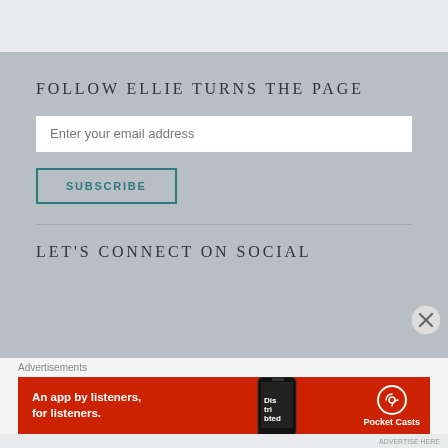FOLLOW ELLIE TURNS THE PAGE
Enter your email address
SUBSCRIBE
LET'S CONNECT ON SOCIAL
Advertisements
[Figure (other): Red advertisement banner for Pocket Casts app showing 'An app by listeners, for listeners.' with a phone image and Pocket Casts logo]
An app by listeners, for listeners.